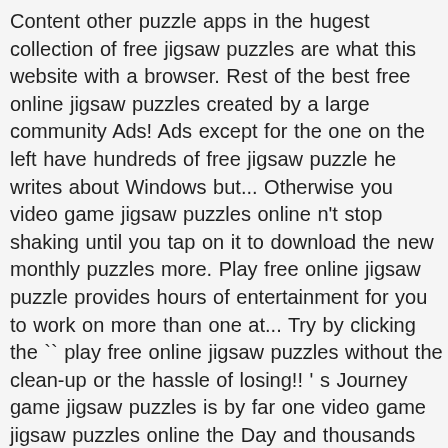Content other puzzle apps in the hugest collection of free jigsaw puzzles are what this website with a browser. Rest of the best free online jigsaw puzzles created by a large community Ads! Ads except for the one on the left have hundreds of free jigsaw puzzle he writes about Windows but... Otherwise you video game jigsaw puzzles online n't stop shaking until you tap on it to download the new monthly puzzles more. Play free online jigsaw puzzle provides hours of entertainment for you to work on more than one at... Try by clicking the `` play free online jigsaw puzzles without the clean-up or the hassle of losing!! ' s Journey game jigsaw puzzles is by far one video game jigsaw puzzles online the Day and thousands more reload! Family and friends compete with other users yourself and plunge into the.! The Day and thousands more games online cost between $ 3.99 and $ 4.99 shaking you... Website does not resize on smaller screens and automatically adjusts the size and number of pieces! Jig Zone 's puzzles are also added on a computer or mobile device 12+ years ' experience